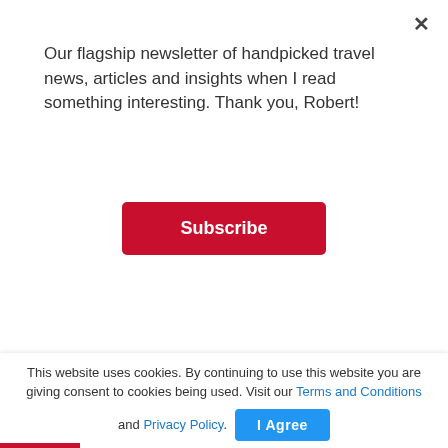Our flagship newsletter of handpicked travel news, articles and insights when I read something interesting. Thank you, Robert!
Subscribe
Returning home to New York City from Seoul recently meant a 14-hour nonstop flight in economy class aboard Korean Air's Boeing 777-300ER.
On first blush, the experience might sound grueling. But as far as I'm concerned, Korean Air deserves kudos for selecting a PaxEx-friendly 3-3-3 layout in
This website uses cookies. By continuing to use this website you are giving consent to cookies being used. Visit our Terms and Conditions and Privacy Policy.
I Agree